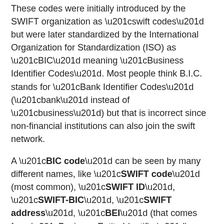These codes were initially introduced by the SWIFT organization as “swift codes” but were later standardized by the International Organization for Standardization (ISO) as “BIC” meaning “Business Identifier Codes”. Most people think B.I.C. stands for “Bank Identifier Codes” (“bank” instead of “business”) but that is incorrect since non-financial institutions can also join the swift network.
A “BIC code” can be seen by many different names, like “SWIFT code” (most common), “SWIFT ID”, “SWIFT-BIC”, “SWIFT address”, “BEI” (that comes from “Business Entity Identifier”), or even “ISO 9362”, which is the standard format that has been approved by the ISO organization. The acronym SWIFT stands for the Society for Worldwide Interbank Financial Telecommunication.
In depth analysis of a swift code
Swift codes are broken down into sections, in the same way telephone numbers are broken into sections, and every